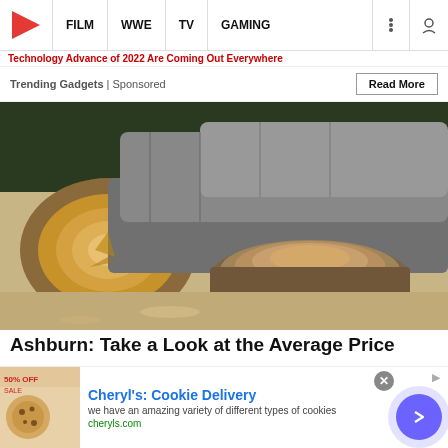FILM | WWE | TV | GAMING
Technology Advance of 2022 Are Coming Out Everywhere
Trending Gadgets | Sponsored
Read More
[Figure (photo): A felled tree trunk with a fresh cut cross-section exposed lying on sandy ground next to a tree stump, surrounded by sawdust.]
Ashburn: Take a Look at the Average Price...
Cheryl's: Cookie Delivery
we have an amazing variety of different types of cookies
cheryls.com